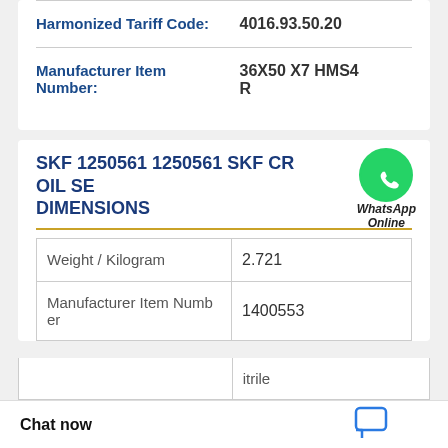| Harmonized Tariff Code: | 4016.93.50.20 |
| Manufacturer Item Number: | 36X50 X7 HMS4 R |
SKF 1250561 1250561 SKF CR OIL SEAL DIMENSIONS
[Figure (logo): WhatsApp Online widget with green WhatsApp phone icon and text 'WhatsApp Online' in italic]
| Weight / Kilogram | 2.721 |
| Manufacturer Item Number | 1400553 |
|  | itrile |
Chat now